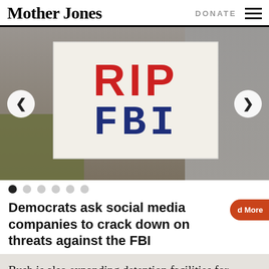Mother Jones | DONATE
[Figure (photo): A protest sign reading 'RIP FBI' in red and dark blue letters on a white board, held outdoors near a road with grass in the background. Navigation arrows on left and right sides of the slideshow.]
Democrats ask social media companies to crack down on threats against the FBI
Bush is also expanding detention facilities for